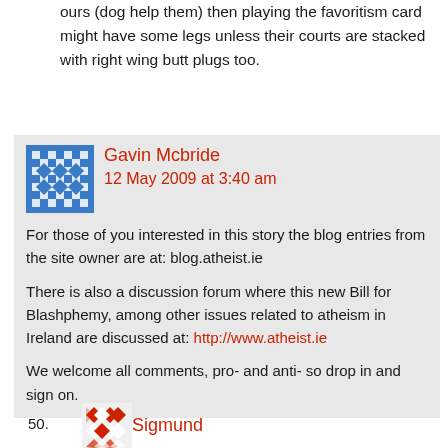ours (dog help them) then playing the favoritism card might have some legs unless their courts are stacked with right wing butt plugs too.
49. Gavin Mcbride
12 May 2009 at 3:40 am

For those of you interested in this story the blog entries from the site owner are at: blog.atheist.ie

There is also a discussion forum where this new Bill for Blashphemy, among other issues related to atheism in Ireland are discussed at: http://www.atheist.ie

We welcome all comments, pro- and anti- so drop in and sign on.
50. Sigmund